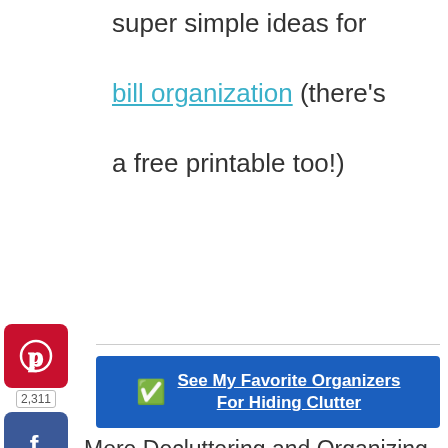super simple ideas for bill organization (there's a free printable too!)
[Figure (logo): Pinterest share button with count 2,311, Facebook share button, Twitter share button]
See My Favorite Organizers For Hiding Clutter
More Decluttering and Organizing